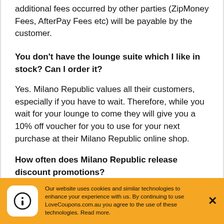additional fees occurred by other parties (ZipMoney Fees, AfterPay Fees etc) will be payable by the customer.
You don't have the lounge suite which I like in stock? Can I order it?
Yes. Milano Republic values all their customers, especially if you have to wait. Therefore, while you wait for your lounge to come they will give you a 10% off voucher for you to use for your next purchase at their Milano Republic online shop.
How often does Milano Republic release discount promotions?
Our website uses cookies and similar technologies to enhance your experience with us. By continuing to use LoveCoupons.com.au you agree to the use of these technologies. Read more.